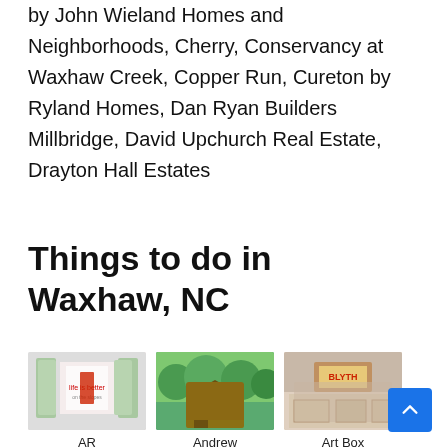by John Wieland Homes and Neighborhoods, Cherry, Conservancy at Waxhaw Creek, Copper Run, Cureton by Ryland Homes, Dan Ryan Builders Millbridge, David Upchurch Real Estate, Drayton Hall Estates
Things to do in Waxhaw, NC
[Figure (photo): Photo of AR Workshop Waxhaw store front with Christmas trees and decor]
AR Workshop Waxhaw
[Figure (photo): Photo of Andrew Jackson State Park showing trees and a log cabin building]
Andrew Jackson State Park
[Figure (photo): Photo of Art Box Ceramics & Canvas studio interior]
Art Box Ceramics & Canvas